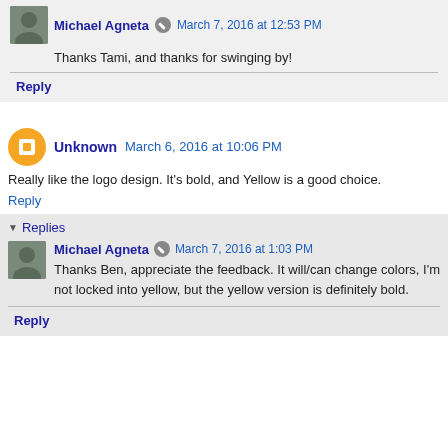Michael Agneta  March 7, 2016 at 12:53 PM
Thanks Tami, and thanks for swinging by!
Reply
Unknown  March 6, 2016 at 10:06 PM
Really like the logo design. It's bold, and Yellow is a good choice.
Reply
Replies
Michael Agneta  March 7, 2016 at 1:03 PM
Thanks Ben, appreciate the feedback. It will/can change colors, I'm not locked into yellow, but the yellow version is definitely bold.
Reply